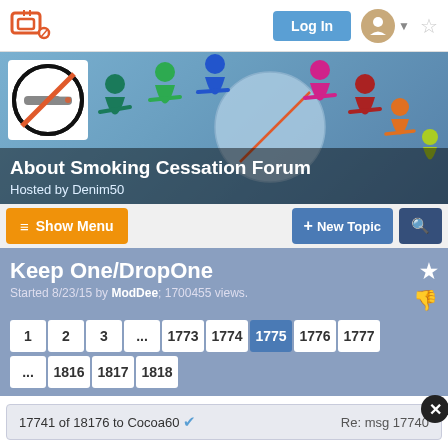Log In
[Figure (screenshot): About Smoking Cessation Forum banner with no-smoking icon and colorful paper people holding hands around a globe]
About Smoking Cessation Forum
Hosted by Denim50
Show Menu   + New Topic  [search]
Keep One/DropOne
Started 8/23/15 by ModDee; 1700455 views.
1  2  3  ...  1773  1774  1775  1776  1777  ...  1816  1817  1818
17741 of 18176 to Cocoa60   Re: msg 17740
From: JavaNY
Apr-21